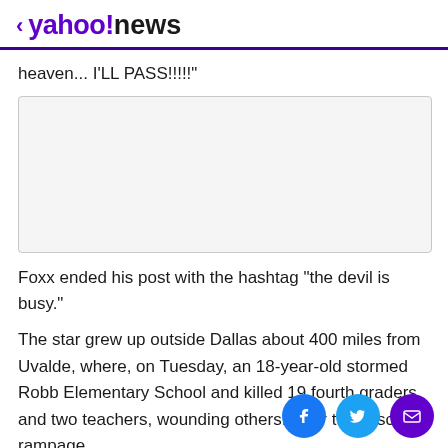< yahoo!news
heaven... I'LL PASS!!!!!"
[Figure (other): Embedded media placeholder, light gray rectangle with rounded border]
Foxx ended his post with the hashtag "the devil is busy."
The star grew up outside Dallas about 400 miles from Uvalde, where, on Tuesday, an 18-year-old stormed Robb Elementary School and killed 19 fourth graders and two teachers, wounding others. Prior to his school rampage,